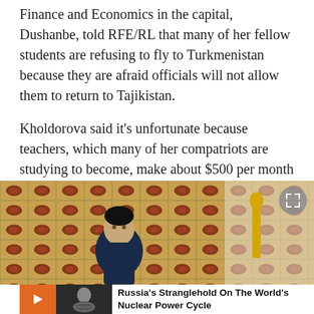Finance and Economics in the capital, Dushanbe, told RFE/RL that many of her fellow students are refusing to fly to Turkmenistan because they are afraid officials will not allow them to return to Tajikistan.
Kholdorova said it's unfortunate because teachers, which many of her compatriots are studying to become, make about $500 per month in Turkmenistan, a decent salary there.
[Figure (photo): Photo of a man in a suit in front of a decorative patterned backdrop, with a related story thumbnail showing Russia's Stranglehold On The World's Nuclear Power Cycle]
Russia's Stranglehold On The World's Nuclear Power Cycle